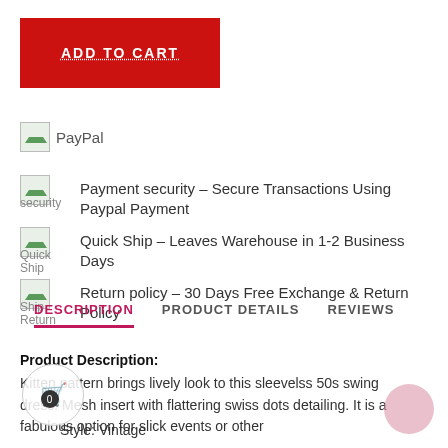[Figure (other): Red ADD TO CART button]
[Figure (other): PayPal payment logo placeholder]
Payment security – Secure Transactions Using Paypal Payment
Quick Ship – Leaves Warehouse in 1-2 Business Days
Return policy – 30 Days Free Exchange & Return Policy
DESCRIPTION   PRODUCT DETAILS   REVIEWS
Product Description:
Kitten pattern brings lively look to this sleevelss 50s swing dress. Mesh insert with flattering swiss dots detailing. It is a fabulous option for slick events or other
Style: Vintage